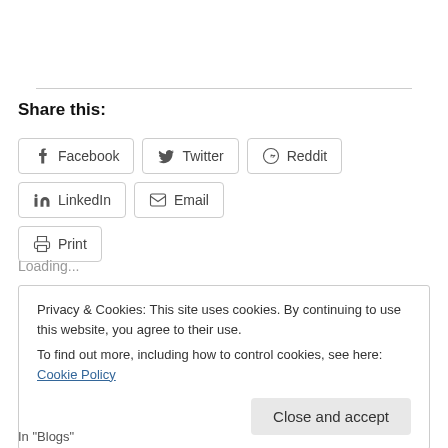Share this:
[Figure (other): Row of social share buttons: Facebook, Twitter, Reddit, LinkedIn, Email, Print]
Loading...
Privacy & Cookies: This site uses cookies. By continuing to use this website, you agree to their use.
To find out more, including how to control cookies, see here: Cookie Policy
Close and accept
In "Blogs"